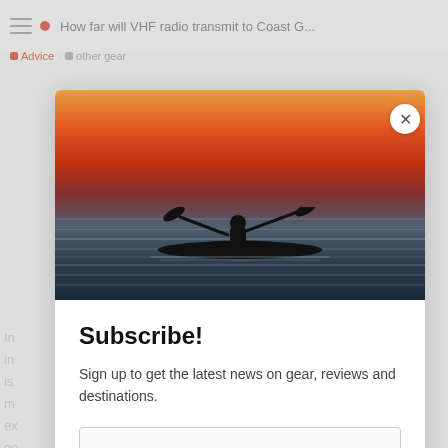How far will VHF radio transmit to Coast G...
Advice · other gear
[Figure (photo): Silhouette of a kayaker paddling on calm water at sunset with vivid orange and red sky]
Subscribe!
Sign up to get the latest news on gear, reviews and destinations.
Enter your email